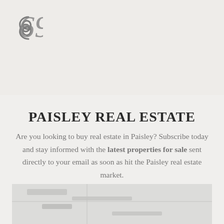[Figure (logo): Circular stylized logo mark in dark grey, resembling intertwined loops or a floral/abstract symbol]
PAISLEY REAL ESTATE
Are you looking to buy real estate in Paisley? Subscribe today and stay informed with the latest properties for sale sent directly to your email as soon as hit the Paisley real estate market.
[Figure (map): Partial map image visible at the bottom of the page, light grey tones]